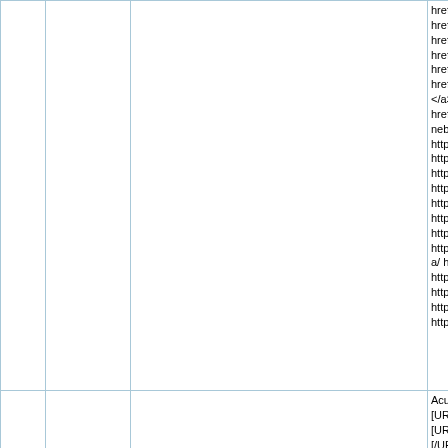|  |  |  | href= "http:... href="http:... href="http:... href="http:... href="http:... href="http:... </a> <a hre... href="http:... nebulized h... http://autop... http://fount... http://disas... http://gaiae... http://autop... http://drean... http://fount... http://tripge... a/ http://spi... http://autop... http://disas... http://tei20... http://marc... |
|  |  |  | Acute oxj.r... [URL=http... [URL=http... [/URL - [U... - /URL - [U... [URL=http... |